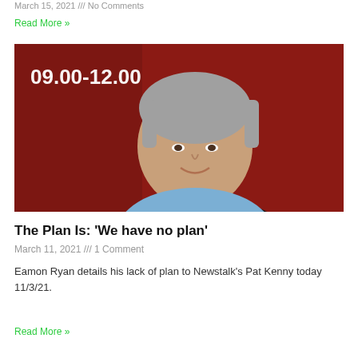March 15, 2021 /// No Comments
Read More »
[Figure (photo): A man with grey hair smiling against a dark red background, with text overlay '09.00-12.00' in the top-left corner]
The Plan Is: 'We have no plan'
March 11, 2021 /// 1 Comment
Eamon Ryan details his lack of plan to Newstalk's Pat Kenny today 11/3/21.
Read More »